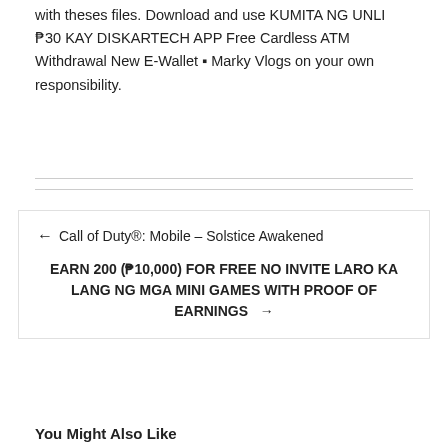with theses files. Download and use KUMITA NG UNLI ₱30 KAY DISKARTECH APP Free Cardless ATM Withdrawal New E-Wallet ▪ Marky Vlogs on your own responsibility.
← Call of Duty®: Mobile – Solstice Awakened
EARN 200 (₱10,000) FOR FREE NO INVITE LARO KA LANG NG MGA MINI GAMES WITH PROOF OF EARNINGS →
You Might Also Like